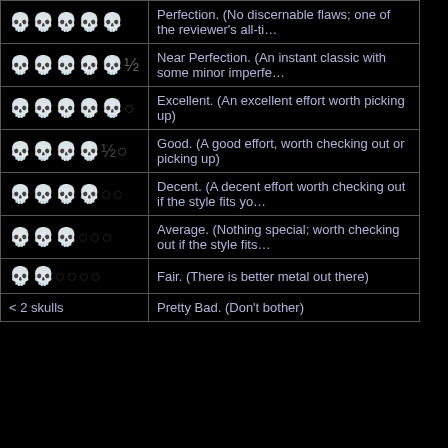| Rating | Description |
| --- | --- |
| 💀💀💀💀💀 | Perfection. (No discernable flaws; one of the reviewer's all-ti… |
| 💀💀💀💀💀½ | Near Perfection. (An instant classic with some minor imperfe… |
| 💀💀💀💀💀 | Excellent. (An excellent effort worth picking up) |
| 💀💀💀💀½ | Good. (A good effort, worth checking out or picking up) |
| 💀💀💀💀 | Decent. (A decent effort worth checking out if the style fits yo… |
| 💀💀💀 | Average. (Nothing special; worth checking out if the style fits… |
| 💀💀 | Fair. (There is better metal out there) |
| < 2 skulls | Pretty Bad. (Don't bother) |